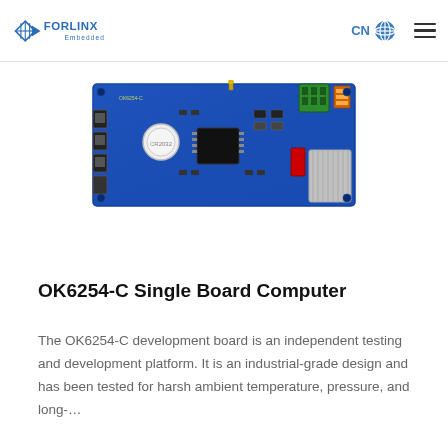FORLINX Embedded | CN [globe icon] [menu icon]
[Figure (photo): Photo of the OK6254-C single board computer PCB — a blue circuit board with various connectors, chips, and components including a circular white component, green terminal blocks, and a heat sink.]
OK6254-C Single Board Computer
The OK6254-C development board is an independent testing and development platform. It is an industrial-grade design and has been tested for harsh ambient temperature, pressure, and long-…